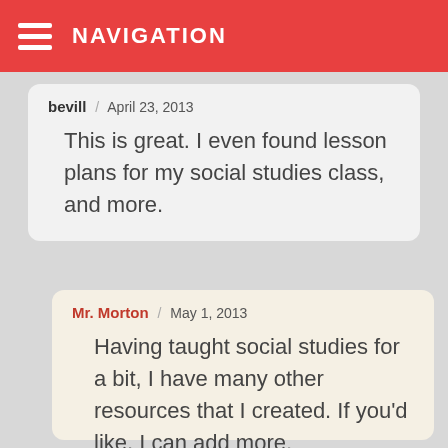NAVIGATION
bevill / April 23, 2013

This is great. I even found lesson plans for my social studies class, and more.
Mr. Morton / May 1, 2013

Having taught social studies for a bit, I have many other resources that I created. If you'd like, I can add more.